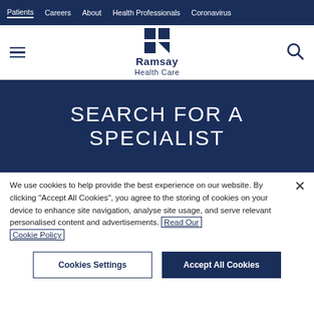Patients | Careers | About | Health Professionals | Coronavirus
[Figure (logo): Ramsay Health Care logo with navy blue grid icon and text]
SEARCH FOR A SPECIALIST
We use cookies to help provide the best experience on our website. By clicking "Accept All Cookies", you agree to the storing of cookies on your device to enhance site navigation, analyse site usage, and serve relevant personalised content and advertisements. Read Our Cookie Policy
Cookies Settings | Accept All Cookies